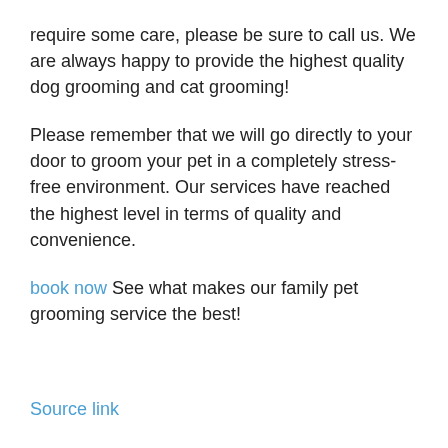require some care, please be sure to call us. We are always happy to provide the highest quality dog grooming and cat grooming!
Please remember that we will go directly to your door to groom your pet in a completely stress-free environment. Our services have reached the highest level in terms of quality and convenience.
book now See what makes our family pet grooming service the best!
Source link